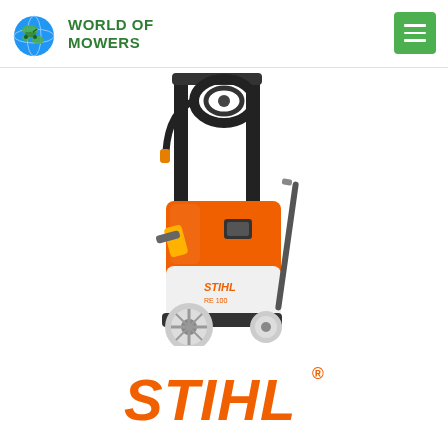World of Mowers
[Figure (photo): STIHL pressure washer (RE 100 model) with orange and white body, black frame with hose reel, lance, and wheels on white background]
[Figure (logo): STIHL brand logo in orange italic text with registered trademark symbol]